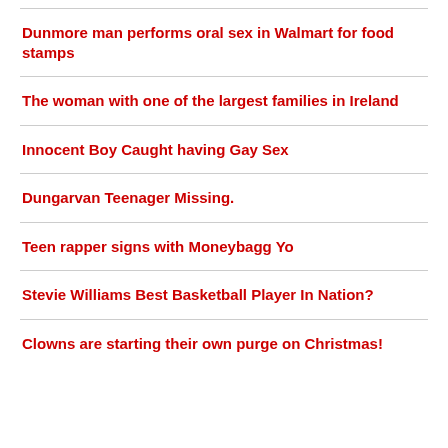Dunmore man performs oral sex in Walmart for food stamps
The woman with one of the largest families in Ireland
Innocent Boy Caught having Gay Sex
Dungarvan Teenager Missing.
Teen rapper signs with Moneybagg Yo
Stevie Williams Best Basketball Player In Nation?
Clowns are starting their own purge on Christmas!